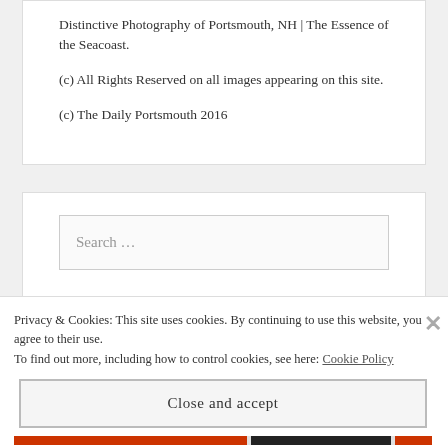Distinctive Photography of Portsmouth, NH | The Essence of the Seacoast.
(c) All Rights Reserved on all images appearing on this site.
(c) The Daily Portsmouth 2016
Search ...
Privacy & Cookies: This site uses cookies. By continuing to use this website, you agree to their use.
To find out more, including how to control cookies, see here: Cookie Policy
Close and accept